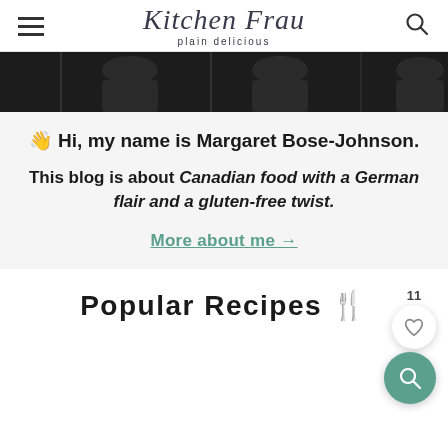Kitchen Frau — plain delicious
[Figure (photo): Photo strip showing a person wearing a black top, partially cropped, repeated across the strip]
👋 Hi, my name is Margaret Bose-Johnson.
This blog is about Canadian food with a German flair and a gluten-free twist.
More about me →
Popular Recipes 🍴